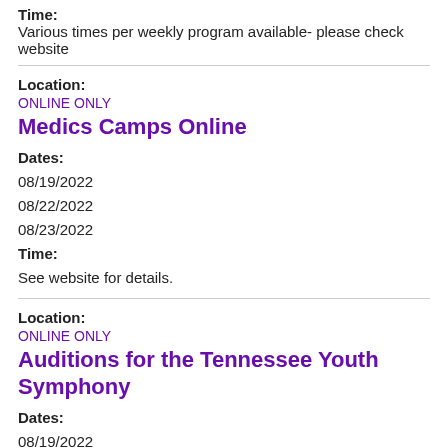Time:
Various times per weekly program available- please check website
Location:
ONLINE ONLY
Medics Camps Online
Dates:
08/19/2022
08/22/2022
08/23/2022
Time:
See website for details.
Location:
ONLINE ONLY
Auditions for the Tennessee Youth Symphony
Dates:
08/19/2022
08/22/2022
08/23/2022
Time: